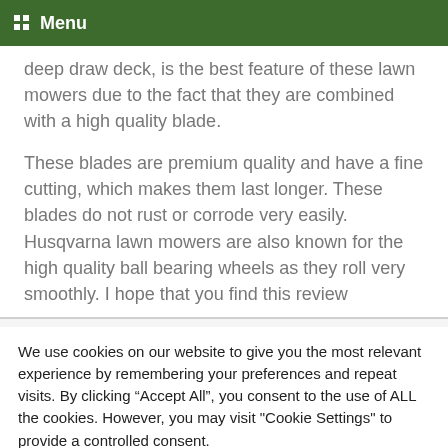Menu
deep draw deck, is the best feature of these lawn mowers due to the fact that they are combined with a high quality blade.
These blades are premium quality and have a fine cutting, which makes them last longer. These blades do not rust or corrode very easily. Husqvarna lawn mowers are also known for the high quality ball bearing wheels as they roll very smoothly. I hope that you find this review
We use cookies on our website to give you the most relevant experience by remembering your preferences and repeat visits. By clicking “Accept All”, you consent to the use of ALL the cookies. However, you may visit "Cookie Settings" to provide a controlled consent.
Cookie Settings   Accept All